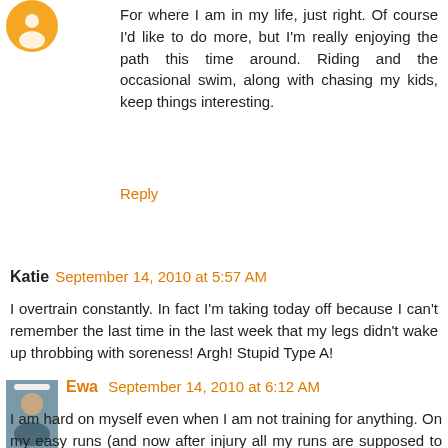[Figure (illustration): Orange circular avatar icon, partially cropped at top]
For where I am in my life, just right. Of course I'd like to do more, but I'm really enjoying the path this time around. Riding and the occasional swim, along with chasing my kids, keep things interesting.
Reply
Katie  September 14, 2010 at 5:57 AM
I overtrain constantly. In fact I'm taking today off because I can't remember the last time in the last week that my legs didn't wake up throbbing with soreness! Argh! Stupid Type A!
Reply
[Figure (photo): Small square avatar photo of Ewa, a person wearing a white hat outdoors]
Ewa  September 14, 2010 at 6:12 AM
I am hard on myself even when I am not training for anything. On my easy runs (and now after injury all my runs are supposed to be easy) I have to keep myself from pushing too hard. Something in my head makes me want to do more and something in my Achilles tendon disagrees.